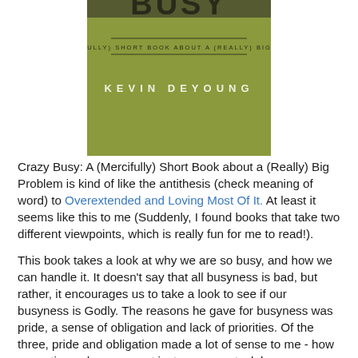[Figure (illustration): Book cover for 'Crazy Busy: A (Mercifully) Short Book About a (Really) Big Problem' by Kevin DeYoung. Olive/green background with bold title text and author name.]
Crazy Busy: A (Mercifully) Short Book about a (Really) Big Problem is kind of like the antithesis (check meaning of word) to Overextended and Loving Most Of It. At least it seems like this to me (Suddenly, I found books that take two different viewpoints, which is really fun for me to read!).
This book takes a look at why we are so busy, and how we can handle it. It doesn't say that all busyness is bad, but rather, it encourages us to take a look to see if our busyness is Godly. The reasons he gave for busyness was pride, a sense of obligation and lack of priorities. Of the three, pride and obligation made a lot of sense to me - how many times do we accept just one more task because we think we're the only people who can handle it? How many times do we take on more work because 'we have to'? And when it came to the sense of total obligation, I thought the following passage was very apt: